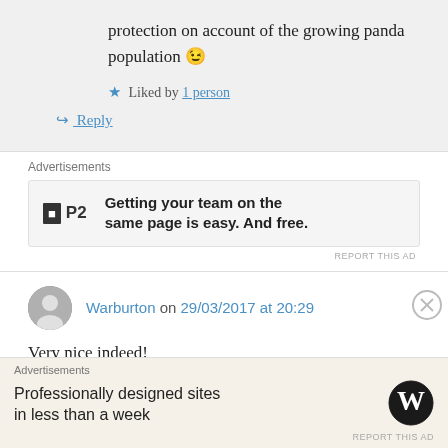protection on account of the growing panda population 😉
★ Liked by 1 person
↪ Reply
Advertisements
[Figure (other): P2 advertisement: Getting your team on the same page is easy. And free.]
REPORT THIS AD
Warburton on 29/03/2017 at 20:29
Very nice indeed!
★ Liked by 1 person
Advertisements
[Figure (other): WordPress advertisement: Professionally designed sites in less than a week]
REPORT THIS AD